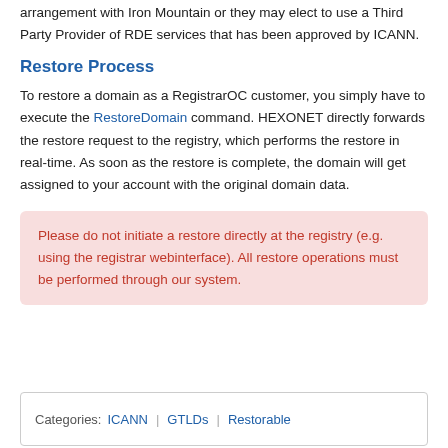arrangement with Iron Mountain or they may elect to use a Third Party Provider of RDE services that has been approved by ICANN.
Restore Process
To restore a domain as a RegistrarOC customer, you simply have to execute the RestoreDomain command. HEXONET directly forwards the restore request to the registry, which performs the restore in real-time. As soon as the restore is complete, the domain will get assigned to your account with the original domain data.
Please do not initiate a restore directly at the registry (e.g. using the registrar webinterface). All restore operations must be performed through our system.
Categories: ICANN | GTLDs | Restorable